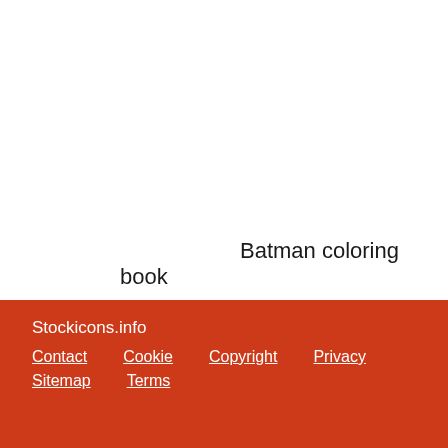Batman coloring book
Stockicons.info
Contact  Cookie  Copyright  Privacy
Sitemap  Terms